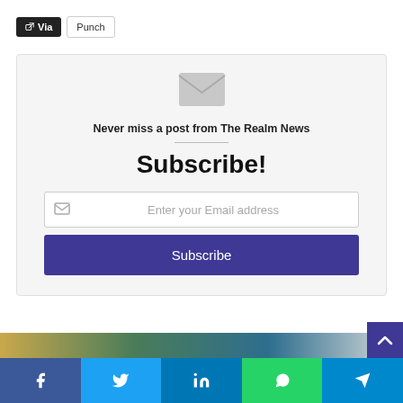Via
Punch
[Figure (infographic): Newsletter subscription widget with envelope icon, tagline 'Never miss a post from The Realm News', Subscribe! heading, email input field, and Subscribe button in purple]
Never miss a post from The Realm News
Subscribe!
Enter your Email address
Subscribe
[Figure (other): Social sharing bar with Facebook, Twitter, LinkedIn, WhatsApp, Telegram icons]